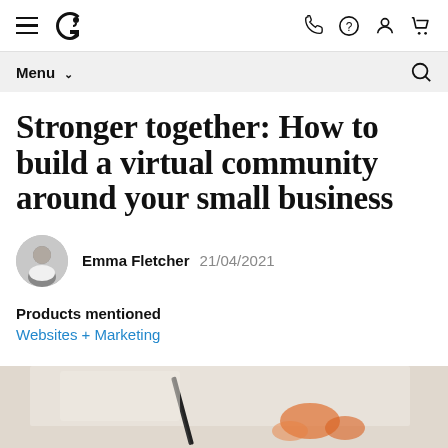GoDaddy navigation bar with hamburger menu, logo, phone, help, account, and cart icons
Menu ∨  [search icon]
Stronger together: How to build a virtual community around your small business
Emma Fletcher  21/04/2021
Products mentioned
Websites + Marketing
[Figure (photo): Partial bottom image showing craft/art supplies including what appears to be a pen or brush and some orange/red flowers on a light background]